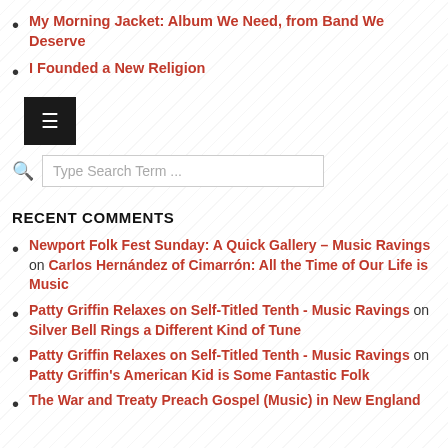My Morning Jacket: Album We Need, from Band We Deserve
I Founded a New Religion
[Figure (other): Hamburger menu icon button (dark background with three horizontal lines)]
[Figure (other): Search bar with magnifying glass icon and placeholder text 'Type Search Term ...']
RECENT COMMENTS
Newport Folk Fest Sunday: A Quick Gallery – Music Ravings on Carlos Hernández of Cimarrón: All the Time of Our Life is Music
Patty Griffin Relaxes on Self-Titled Tenth - Music Ravings on Silver Bell Rings a Different Kind of Tune
Patty Griffin Relaxes on Self-Titled Tenth - Music Ravings on Patty Griffin's American Kid is Some Fantastic Folk
The War and Treaty Preach Gospel (Music) in New England